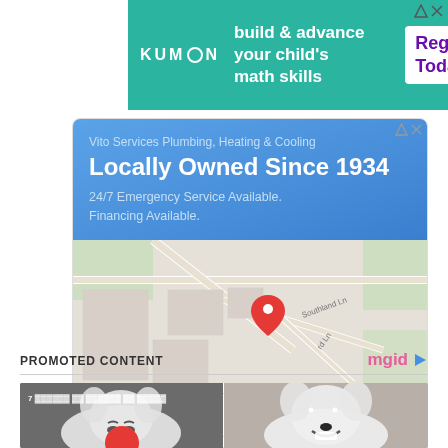[Figure (screenshot): Kumon advertisement banner - teal background with Kumon logo, tagline 'build & advance your child's math skills', and 'Register Today →' call to action]
[Figure (screenshot): Vito Services Plumbing, Heating & Cooling local ad card with blue header showing 'Locally Owned Since 1934', '24/7 Emergency Service Available. Financing Available.', a map showing location near Dover Rd and Southland Ln, and buttons for 'Store info' and 'Directions']
PROMOTED CONTENT
[Figure (photo): Two side-by-side photos of a white Pomeranian dog - left showing dog with sleepy/squinting expression with Korean text overlay '7 [Korean characters]', right showing dog with wide-eyed happy smiling expression]